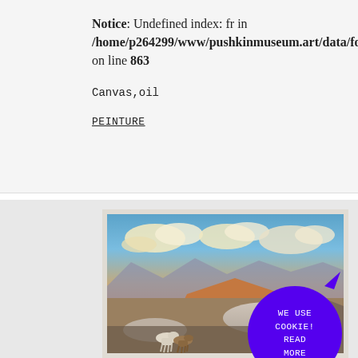Notice: Undefined index: fr in /home/p264299/www/pushkinmuseum.art/data/fo... on line 863
Canvas,oil
PEINTURE
[Figure (photo): A painting showing a landscape with mountains, desert terrain, dramatic cloudy sky, and two horses running in the foreground. The painting has a light cream/beige frame border.]
WE USE COOKIE! READ MORE